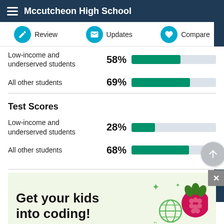Mccutcheon High School
Review   Updates   Compare
Low-income and underserved students 58%
All other students 69%
Test Scores
Low-income and underserved students 28%
All other students 68%
[Figure (infographic): Advertisement: Get your kids into coding! with raspberry pi logo and green sparkle/globe/music note icons]
ADVERTISEMENT